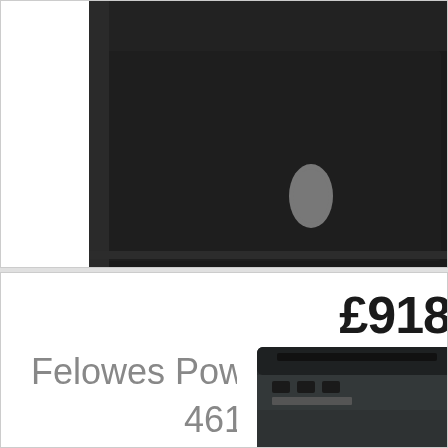[Figure (photo): Close-up of a black paper shredder bin/body, partially cropped, showing a rounded rectangular form with a grey oval indicator light on the front. Dark background portion of a shredder unit.]
£918
Felowes Powershred 12
4613
[Figure (photo): Partial view of a Fellowes Powershred paper shredder unit, showing the top portion with feed slot and control panel, in dark grey/black colour, cropped at bottom right of page.]